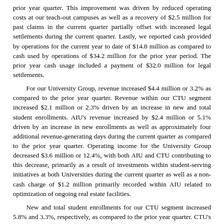prior year quarter. This improvement was driven by reduced operating costs at our teach-out campuses as well as a recovery of $2.5 million for past claims in the current quarter partially offset with increased legal settlements during the current quarter. Lastly, we reported cash provided by operations for the current year to date of $14.8 million as compared to cash used by operations of $34.2 million for the prior year period. The prior year cash usage included a payment of $32.0 million for legal settlements.
For our University Group, revenue increased $4.4 million or 3.2% as compared to the prior year quarter. Revenue within our CTU segment increased $2.1 million or 2.3% driven by an increase in new and total student enrollments. AIU's revenue increased by $2.4 million or 5.1% driven by an increase in new enrollments as well as approximately four additional revenue-generating days during the current quarter as compared to the prior year quarter. Operating income for the University Group decreased $3.6 million or 12.4%, with both AIU and CTU contributing to this decrease, primarily as a result of investments within student-serving initiatives at both Universities during the current quarter as well as a non-cash charge of $1.2 million primarily recorded within AIU related to optimization of ongoing real estate facilities.
New and total student enrollments for our CTU segment increased 5.8% and 3.3%, respectively, as compared to the prior year quarter. CTU's enrollment growth was positively impacted by investments across our student-serving processes, including the opening of our admissions and advising center in Arizona during 2017. Additionally, our academics and advising functions are leveraging technology and have increased their student outreach with robust orientation and student engagement strategies that we believe are supporting overall student retention. New student enrollments for our AIU segment increased 9.0% as compared to the prior year quarter driven by the academic